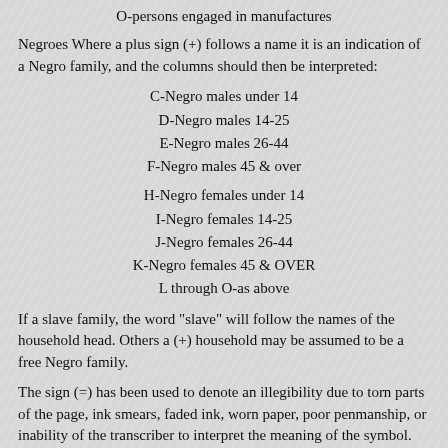O-persons engaged in manufactures
Negroes Where a plus sign (+) follows a name it is an indication of a Negro family, and the columns should then be interpreted:
C-Negro males under 14
D-Negro males 14-25
E-Negro males 26-44
F-Negro males 45 & over
H-Negro females under 14
I-Negro females 14-25
J-Negro females 26-44
K-Negro females 45 & OVER
L through O-as above
If a slave family, the word "slave" will follow the names of the household head. Others a (+) household may be assumed to be a free Negro family.
The sign (=) has been used to denote an illegibility due to torn parts of the page, ink smears, faded ink, worn paper, poor penmanship, or inability of the transcriber to interpret the meaning of the symbol. Where the interpretation is uncertain, a question make has been placed after the name. No spellings were intentionally changes, however the reader should understand that